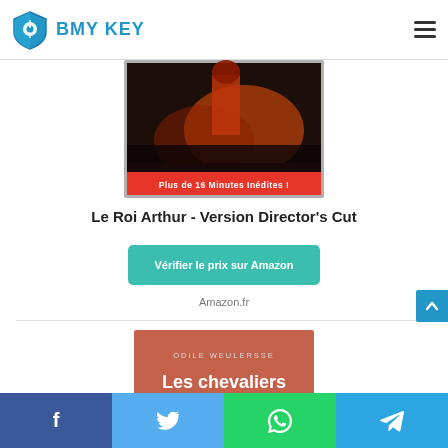BMY KEY
[Figure (photo): DVD cover of Le Roi Arthur - Version Director's Cut, dark battle scene with 'Plus de 16 Minutes Inédites!' text, dts and DVD logos]
Le Roi Arthur - Version Director's Cut
Vérifier le prix sur Amazon
Amazon.fr
[Figure (photo): Book cover - Les chevaliers du roi Arthur by Odile Weulersse, terracotta/red background with white bold title text]